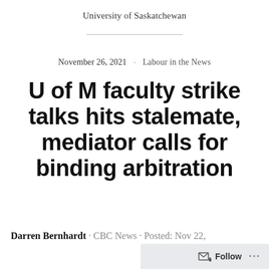University of Saskatchewan
November 26, 2021 · Labour in the News
U of M faculty strike talks hits stalemate, mediator calls for binding arbitration
Darren Bernhardt · CBC News · Posted: Nov 22,